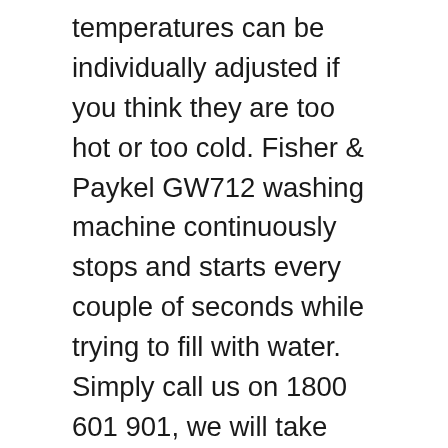temperatures can be individually adjusted if you think they are too hot or too cold. Fisher & Paykel GW712 washing machine continuously stops and starts every couple of seconds while trying to fill with water. Simply call us on 1800 601 901, we will take down your details, book you in and get you up and running in no time. If the wiring connections are … Fisher & Paykel FabricSmart WA8060P washer troubleshooting Fisher & Paykel FabricSmart WA8060P is a top-loading washing machine designed to wash larger loads, while taking up less space. The beeps signalling the end of the cycle can be increased or decreased. How to Troubleshoot Fisher Paykel Washers. Use this diagram to